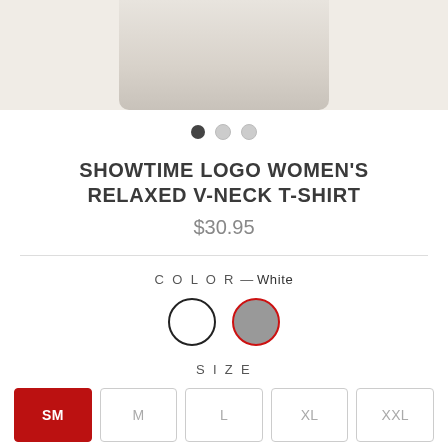[Figure (photo): Bottom portion of a white women's relaxed v-neck t-shirt on white/light gray background]
[Figure (other): Three pagination dots: first dot filled dark, second and third light gray]
SHOWTIME LOGO WOMEN'S RELAXED V-NECK T-SHIRT
$30.95
COLOR — White
[Figure (other): Two color swatches: white circle with black border (selected), gray circle with red border]
SIZE
SM  M  L  XL  XXL
QUANTITY